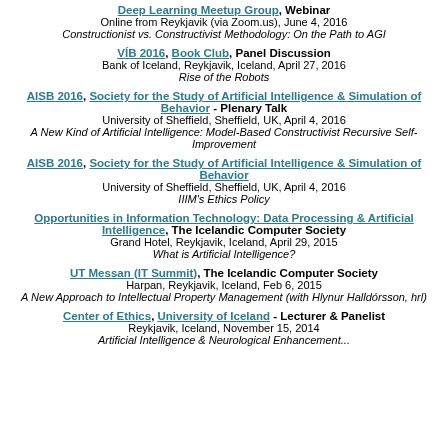Deep Learning Meetup Group, Webinar
Online from Reykjavik (via Zoom.us), June 4, 2016
Constructionist vs. Constructivist Methodology: On the Path to AGI
VÍB 2016, Book Club, Panel Discussion
Bank of Iceland, Reykjavik, Iceland, April 27, 2016
Rise of the Robots
AISB 2016, Society for the Study of Artificial Intelligence & Simulation of Behavior - Plenary Talk
University of Sheffield, Sheffield, UK, April 4, 2016
A New Kind of Artificial Intelligence: Model-Based Constructivist Recursive Self-Improvement
AISB 2016, Society for the Study of Artificial Intelligence & Simulation of Behavior
University of Sheffield, Sheffield, UK, April 4, 2016
IIIM's Ethics Policy
Opportunities in Information Technology: Data Processing & Artificial Intelligence, The Icelandic Computer Society
Grand Hotel, Reykjavik, Iceland, April 29, 2015
What is Artificial Intelligence?
UT Messan (IT Summit), The Icelandic Computer Society
Harpan, Reykjavik, Iceland, Feb 6, 2015
A New Approach to Intellectual Property Management (with Hlynur Halldórsson, hrl)
Center of Ethics, University of Iceland - Lecturer & Panelist
Reykjavik, Iceland, November 15, 2014
Artificial Intelligence & Neurological Enhancement...